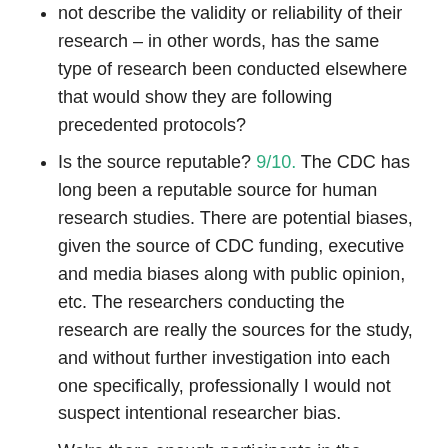not describe the validity or reliability of their research – in other words, has the same type of research been conducted elsewhere that would show they are following precedented protocols?
Is the source reputable? 9/10. The CDC has long been a reputable source for human research studies. There are potential biases, given the source of CDC funding, executive and media biases along with public opinion, etc. The researchers conducting the research are really the sources for the study, and without further investigation into each one specifically, professionally I would not suspect intentional researcher bias.
We're there enough participants in the sample? 5/10. The sample size has an N > 32, which is often the threshold to meet